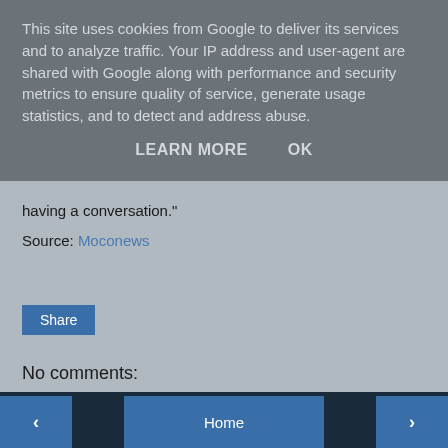This site uses cookies from Google to deliver its services and to analyze traffic. Your IP address and user-agent are shared with Google along with performance and security metrics to ensure quality of service, generate usage statistics, and to detect and address abuse.
LEARN MORE   OK
having a conversation."
Source: Moconews
Share
No comments:
Post a Comment
‹   Home   ›